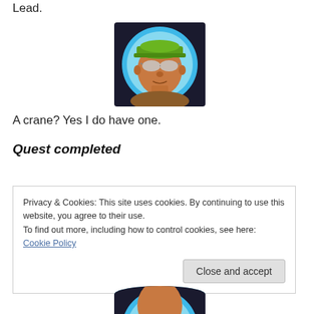Lead.
[Figure (illustration): Animated character avatar: a muscular man wearing a green cap and reflective sunglasses, shown in a circular blue-framed portrait]
A crane? Yes I do have one.
Quest completed
Privacy & Cookies: This site uses cookies. By continuing to use this website, you agree to their use.
To find out more, including how to control cookies, see here: Cookie Policy
Close and accept
[Figure (illustration): Bottom portion of a character avatar with blue circular frame, partially visible]